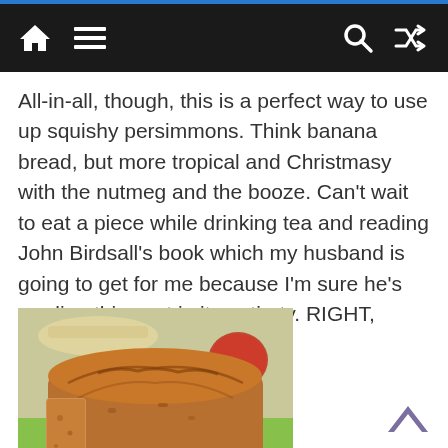Navigation bar with home, menu, search, and shuffle icons
All-in-all, though, this is a perfect way to use up squishy persimmons. Think banana bread, but more tropical and Christmasy with the nutmeg and the booze. Can't wait to eat a piece while drinking tea and reading John Birdsall's book which my husband is going to get for me because I'm sure he's reading this post in its entirety. RIGHT, CRAIG?
[Figure (photo): A loaf of persimmon bread (golden-brown quick bread) on a green surface, with a plate and a red apple visible in the background.]
Print